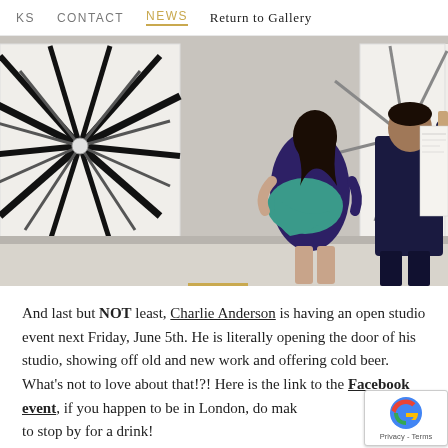KS   CONTACT   NEWS   Return to Gallery
[Figure (photo): Two people viewed from behind standing in an art gallery looking at large black and white radial/starburst pattern artworks on the wall. The woman wears a dark purple dress with a teal scarf; the man wears a dark navy suit.]
And last but NOT least, Charlie Anderson is having an open studio event next Friday, June 5th. He is literally opening the door of his studio, showing off old and new work and offering cold beer. What's not to love about that!?! Here is the link to the Facebook event, if you happen to be in London, do make sure to stop by for a drink!